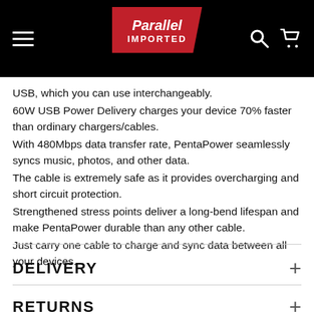Parallel Imported — navigation header
USB, which you can use interchangeably.
60W USB Power Delivery charges your device 70% faster than ordinary chargers/cables.
With 480Mbps data transfer rate, PentaPower seamlessly syncs music, photos, and other data.
The cable is extremely safe as it provides overcharging and short circuit protection.
Strengthened stress points deliver a long-bend lifespan and make PentaPower durable than any other cable.
Just carry one cable to charge and sync data between all your devices.
DELIVERY
RETURNS